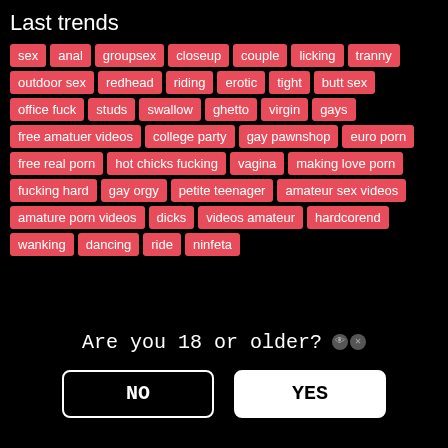Last trends
sex, anal, groupsex, closeup, couple, licking, tranny, outdoor sex, redhead, riding, erotic, tight, butt sex, office fuck, studs, swallow, ghetto, virgin, gays, free amatuer videos, college party, gay pawnshop, euro porn, free real porn, hot chicks fucking, vagina, making love porn, fucking hard, gay orgy, petite teenager, amateur sex videos, amature porn videos, dicks, videos amateur, hardcorend, wanking, dancing, ride, ninfeta
Are you 18 or older?
NO
YES